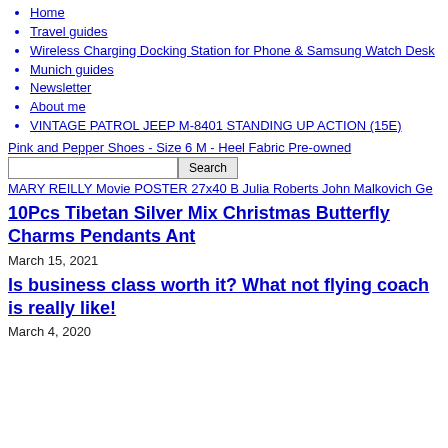Home
Travel guides
Wireless Charging Docking Station for Phone & Samsung Watch Desk
Munich guides
Newsletter
About me
VINTAGE PATROL JEEP M-8401 STANDING UP ACTION (15E)
Pink and Pepper Shoes - Size 6 M - Heel Fabric Pre-owned
Search
MARY REILLY Movie POSTER 27x40 B Julia Roberts John Malkovich Ge
10Pcs Tibetan Silver Mix Christmas Butterfly Charms Pendants Ant
March 15, 2021
Is business class worth it? What not flying coach is really like!
March 4, 2020